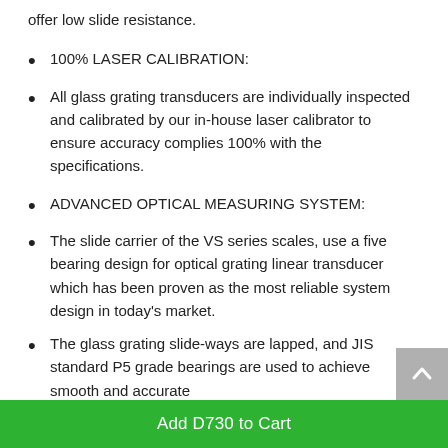offer low slide resistance.
100% LASER CALIBRATION:
All glass grating transducers are individually inspected and calibrated by our in-house laser calibrator to ensure accuracy complies 100% with the specifications.
ADVANCED OPTICAL MEASURING SYSTEM:
The slide carrier of the VS series scales, use a five bearing design for optical grating linear transducer which has been proven as the most reliable system design in today's market.
The glass grating slide-ways are lapped, and JIS standard P5 grade bearings are used to achieve smooth and accurate
Add D730 to Cart